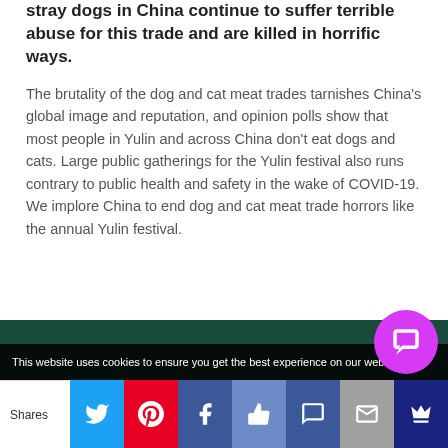stray dogs in China continue to suffer terrible abuse for this trade and are killed in horrific ways.
The brutality of the dog and cat meat trades tarnishes China's global image and reputation, and opinion polls show that most people in Yulin and across China don't eat dogs and cats. Large public gatherings for the Yulin festival also runs contrary to public health and safety in the wake of COVID-19. We implore China to end dog and cat meat trade horrors like the annual Yulin festival.
This website uses cookies to ensure you get the best experience on our websi...